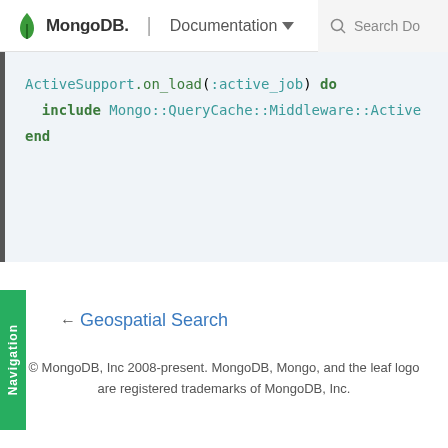MongoDB | Documentation  Search Do
[Figure (screenshot): Code block showing Ruby code: ActiveSupport.on_load(:active_job) do  include Mongo::QueryCache::Middleware::Active  end]
← Geospatial Search
© MongoDB, Inc 2008-present. MongoDB, Mongo, and the leaf logo are registered trademarks of MongoDB, Inc.